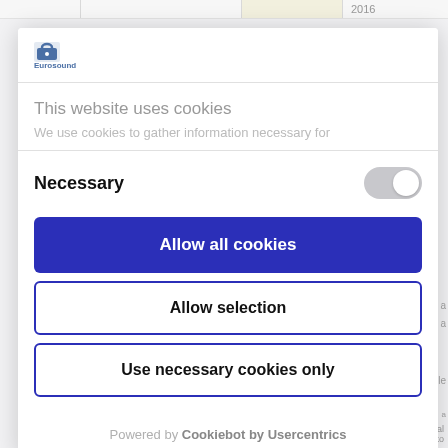[Figure (logo): Eurosound logo — small blue/grey icon with text 'Eurosound' below]
This website uses cookies
We use cookies to gather information necessary for
Necessary
Allow all cookies
Allow selection
Use necessary cookies only
Powered by Cookiebot by Usercentrics
mercado de trabajo, Real Decreto